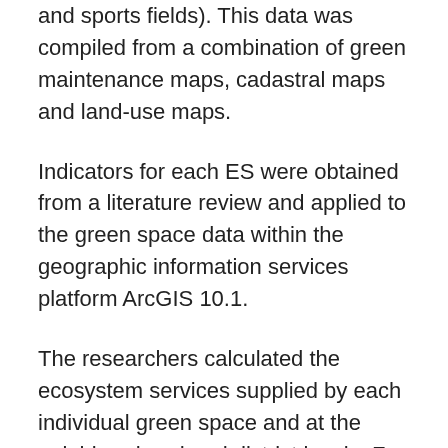and sports fields). This data was compiled from a combination of green maintenance maps, cadastral maps and land-use maps.
Indicators for each ES were obtained from a literature review and applied to the green space data within the geographic information services platform ArcGIS 10.1.
The researchers calculated the ecosystem services supplied by each individual green space and at the neighbourhood and district levels. For each urban green space they multiplied the area by the ES supply rate per square metre. The ES supplied by individual green spaces was then aggregated to the neighbourhood and district levels.
Analysis showed that different green spaces have